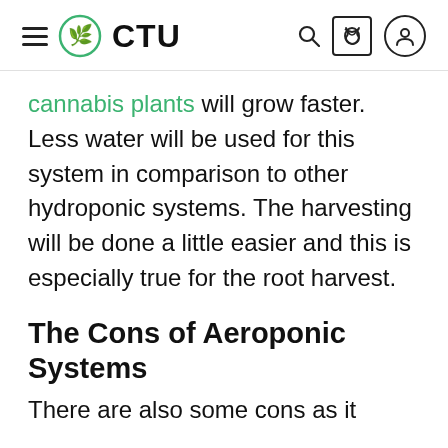CTU
cannabis plants will grow faster. Less water will be used for this system in comparison to other hydroponic systems. The harvesting will be done a little easier and this is especially true for the root harvest.
The Cons of Aeroponic Systems
There are also some cons as it